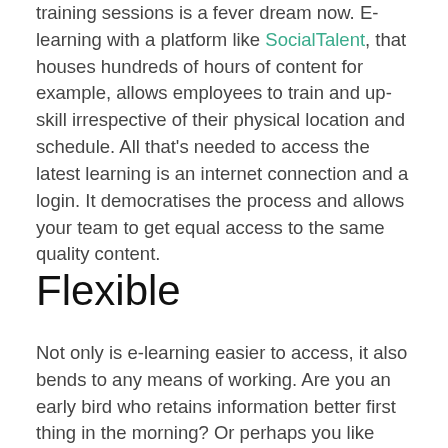training sessions is a fever dream now. E-learning with a platform like SocialTalent, that houses hundreds of hours of content for example, allows employees to train and up-skill irrespective of their physical location and schedule. All that's needed to access the latest learning is an internet connection and a login. It democratises the process and allows your team to get equal access to the same quality content.
Flexible
Not only is e-learning easier to access, it also bends to any means of working. Are you an early bird who retains information better first thing in the morning? Or perhaps you like learning on the go, stealing five or ten minutes while out on a walk? E-learning enables your team to have agency over their L&D